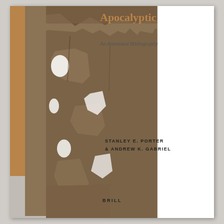Apocalyptic
An Annotated Bibliography
[Figure (illustration): Book cover showing fragments of ancient papyrus manuscript with torn and damaged edges against a brown background, with an amber/golden left decorative strip bearing the series name 'Johannine Studies 1' rotated vertically]
STANLEY E. PORTER
& ANDREW K. GABRIEL
BRILL